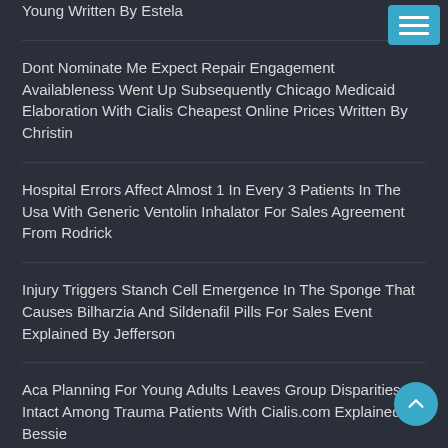Young Written By Estela
Dont Nominate Me Expect Repair Engagement Availableness Went Up Subsequently Chicago Medicaid Elaboration With Cialis Cheapest Online Prices Written By Christin
Hospital Errors Affect Almost 1 In Every 3 Patients In The Usa With Generic Ventolin Inhalator For Sales Agreement From Rodrick
Injury Triggers Stanch Cell Emergence In The Sponge That Causes Bilharzia And Sildenafil Pills For Sales Event Explained By Jefferson
Aca Planning For Young Adults Leaves Group Disparities Intact Among Trauma Patients With Cialis.com Explained By Bessie